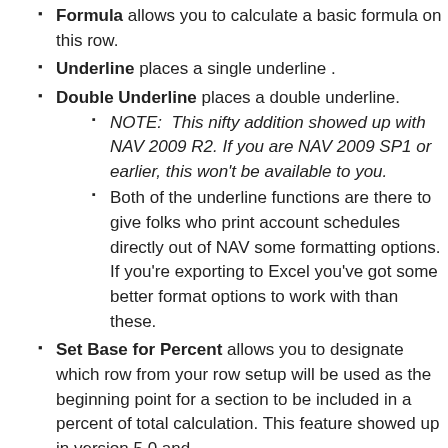Formula allows you to calculate a basic formula on this row.
Underline places a single underline .
Double Underline places a double underline.
NOTE:  This nifty addition showed up with NAV 2009 R2. If you are NAV 2009 SP1 or earlier, this won't be available to you.
Both of the underline functions are there to give folks who print account schedules directly out of NAV some formatting options. If you're exporting to Excel you've got some better format options to work with than these.
Set Base for Percent allows you to designate which row from your row setup will be used as the beginning point for a section to be included in a percent of total calculation. This feature showed up in version 5.0 and